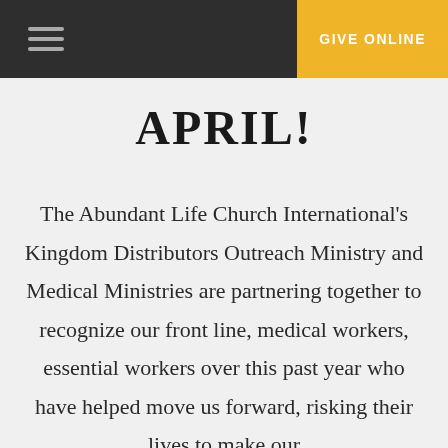GIVE ONLINE
APRIL!
The Abundant Life Church International's Kingdom Distributors Outreach Ministry and Medical Ministries are partnering together to recognize our front line, medical workers, essential workers over this past year who have helped move us forward, risking their lives to make our lives better. We would like to take the